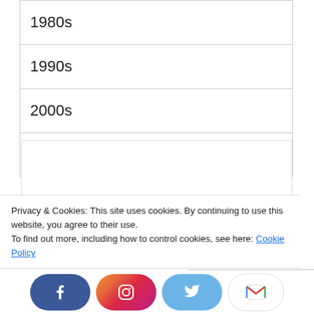| 1980s |
| 1990s |
| 2000s |
| 2010s |
[Figure (other): Thank You For Reading banner box with green bold uppercase text]
Privacy & Cookies: This site uses cookies. By continuing to use this website, you agree to their use.
To find out more, including how to control cookies, see here: Cookie Policy
Close and accept
[Figure (other): Social media icon buttons row: Facebook (dark blue), Instagram (gradient), Twitter (light blue), Gmail (white with M logo)]